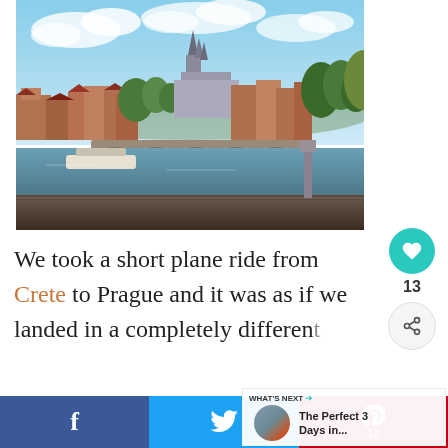[Figure (photo): View of Prague Castle and Charles Bridge over the Vltava River, with red-roofed buildings and Gothic cathedral spires visible against a partly cloudy sky]
We took a short plane ride from Crete to Prague and it was as if we landed in a completely differen...
[Figure (infographic): What's Next callout: The Perfect 3 Days in... with thumbnail image of Prague]
[Figure (infographic): Social media sharing bar with Facebook (f), Twitter (bird icon), and Pinterest (P 12) buttons]